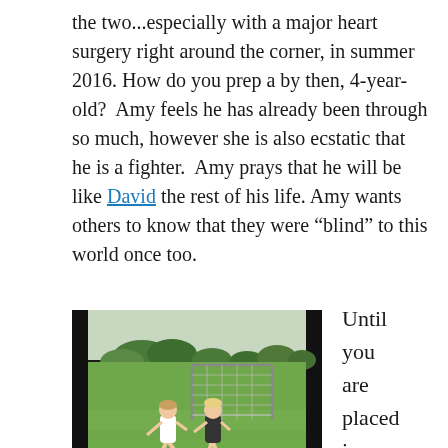the two...especially with a major heart surgery right around the corner, in summer 2016. How do you prep a by then, 4-year-old?  Amy feels he has already been through so much, however she is also ecstatic that he is a fighter.  Amy prays that he will be like David the rest of his life. Amy wants others to know that they were “blind” to this world once too.
[Figure (photo): Two children playing soccer in a grassy field with a soccer goal net in the background. One child in white kicks while the other in dark clothes plays goalie with an orange/red ball.]
Big Sis, Lily kicks while Jonah plays “goalie”!
Until you are placed in a situation ...